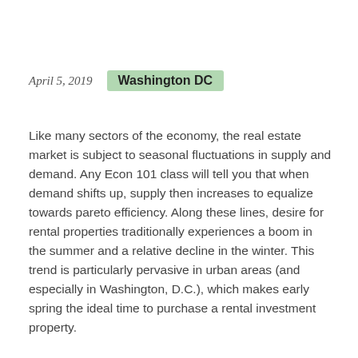April 5, 2019   Washington DC
Like many sectors of the economy, the real estate market is subject to seasonal fluctuations in supply and demand. Any Econ 101 class will tell you that when demand shifts up, supply then increases to equalize towards pareto efficiency. Along these lines, desire for rental properties traditionally experiences a boom in the summer and a relative decline in the winter. This trend is particularly pervasive in urban areas (and especially in Washington, D.C.), which makes early spring the ideal time to purchase a rental investment property.